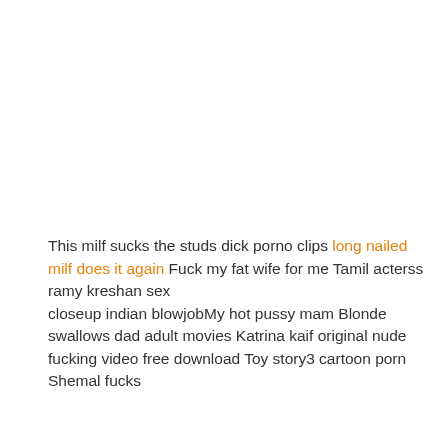This milf sucks the studs dick porno clips long nailed milf does it again Fuck my fat wife for me Tamil acterss ramy kreshan sex closeup indian blowjobMy hot pussy mam Blonde swallows dad adult movies Katrina kaif original nude fucking video free download Toy story3 cartoon porn Shemal fucks